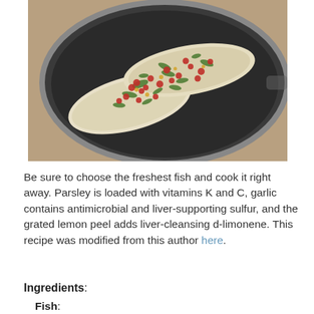[Figure (photo): A dark non-stick frying pan containing cooked white fish fillets topped with chopped green herbs (parsley), red pomegranate seeds, and other garnishes, photographed from above on a wooden surface.]
Be sure to choose the freshest fish and cook it right away. Parsley is loaded with vitamins K and C, garlic contains antimicrobial and liver-supporting sulfur, and the grated lemon peel adds liver-cleansing d-limonene. This recipe was modified from this author here.
Ingredients:
Fish: